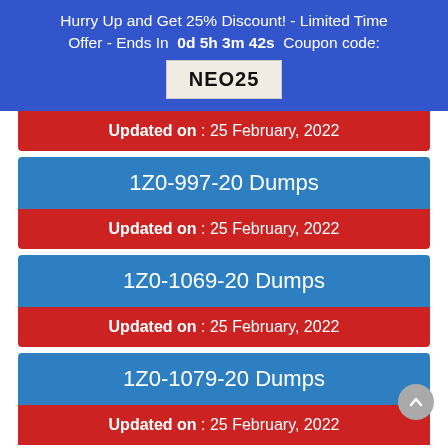Hurry Up and Get 25% Discount! - Limited Time Offer - Ends In 0d 5h 3m 42s Coupon code: NEO25
Updated on : 25 February, 2022
1Z0-997-20 Dumps
Updated on : 25 February, 2022
1Z0-1069-20 Dumps
Updated on : 25 February, 2022
1Z0-1079-20 Dumps
Updated on : 25 February, 2022